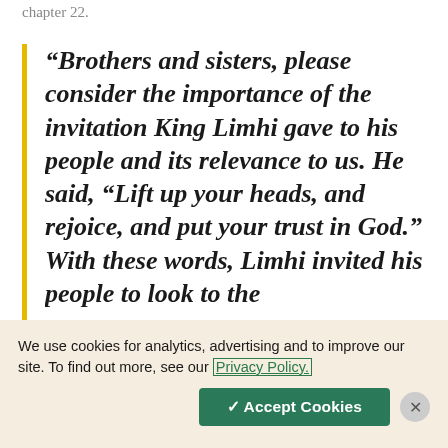chapter 22.
“Brothers and sisters, please consider the importance of the invitation King Limhi gave to his people and its relevance to us. He said, “Lift up your heads, and rejoice, and put your trust in God.” With these words, Limhi invited his people to look to the
We use cookies for analytics, advertising and to improve our site. To find out more, see our Privacy Policy.
✓ Accept Cookies